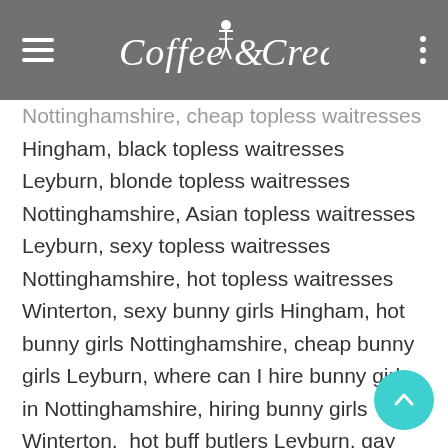Coffee & Cream
Nottinghamshire, cheap topless waitresses Hingham, black topless waitresses Leyburn, blonde topless waitresses Nottinghamshire, Asian topless waitresses Leyburn, sexy topless waitresses Nottinghamshire, hot topless waitresses Winterton, sexy bunny girls Hingham, hot bunny girls Nottinghamshire, cheap bunny girls Leyburn, where can I hire bunny girls in Nottinghamshire, hiring bunny girls Winterton,  hot buff butlers Leyburn, gay drag queens Hingham, hiring buff butlers Nottinghamshire, where can I hire a buff butler Leyburn,  art models Leyburn, promotional models Winterton, sexy models Nottinghamshire, hot models Hingham, athletic body models Leyburn, petite models Nottinghamshire, virtual strippers for hire near me, virtual strippers for hire Leyburn, cheap virtual strippers Winterton, wedding DJs